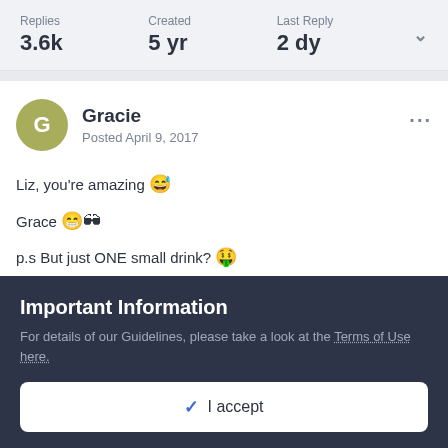| Replies | Created | Last Reply |
| --- | --- | --- |
| 3.6k | 5 yr | 2 dy |
Gracie
Posted April 9, 2017
Liz, you're amazing 😅

Grace 😁🕶

p.s But just ONE small drink? 🤑
Important Information
For details of our Guidelines, please take a look at the Terms of Use here.
✔ I accept